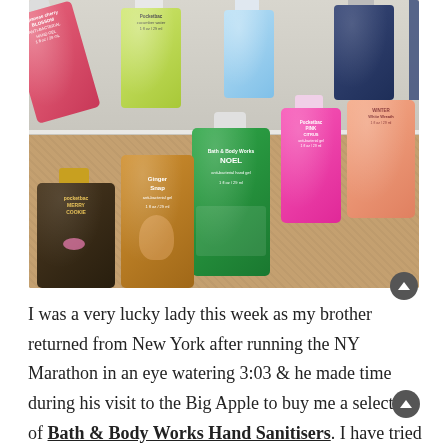[Figure (photo): Collection of Bath & Body Works PocketBac hand sanitizer bottles arranged on a shelf and carpet surface. Bottles include Japanese Cherry Blossom (pink), a green Pocketbac, a light blue bottle, a dark navy bottle, Noel (green), Ginger Snap (amber), Merry Cookie (dark), Pink Citrus (hot pink), and Winter White Wreath (salmon/peach). Some bottles on a white shelf at top, others on a beige/tan carpet below.]
I was a very lucky lady this week as my brother returned from New York after running the NY Marathon in an eye watering 3:03 & he made time during his visit to the Big Apple to buy me a selection of Bath & Body Works Hand Sanitisers. I have tried a few before but I really wanted to try the Christmas selection &